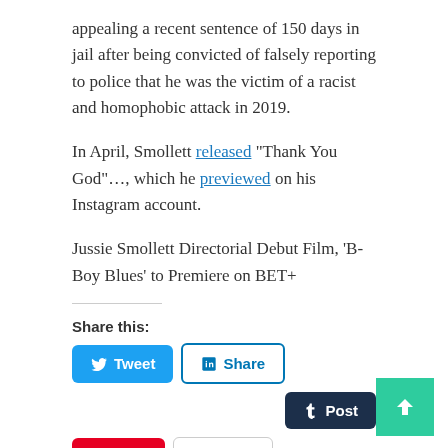appealing a recent sentence of 150 days in jail after being convicted of falsely reporting to police that he was the victim of a racist and homophobic attack in 2019.
In April, Smollett released "Thank You God"…, which he previewed on his Instagram account.
Jussie Smollett Directorial Debut Film, ‘B-Boy Blues’ to Premiere on BET+
Share this:
[Figure (infographic): Social share buttons: Tweet (Twitter/blue), Share (LinkedIn/outlined), Post (Tumblr/dark navy), Save (Pinterest/red), Email (grey outlined)]
Like this:
Loading...